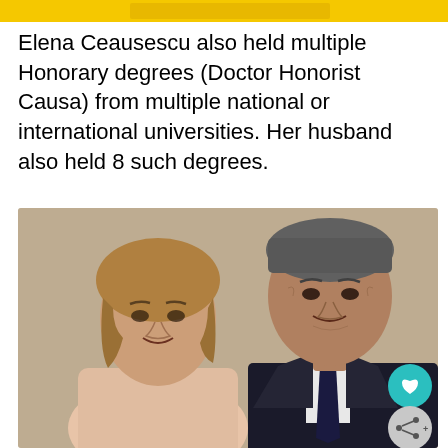[Figure (other): Yellow banner/advertisement bar at the top of the page]
Elena Ceausescu also held multiple Honorary degrees (Doctor Honorist Causa) from multiple national or international universities. Her husband also held 8 such degrees.
[Figure (photo): Black and white / colorized photograph of Elena Ceausescu and Nicolae Ceausescu standing together. Elena is on the left with short curly hair wearing a light blouse. Nicolae is on the right with dark suit and tie.]